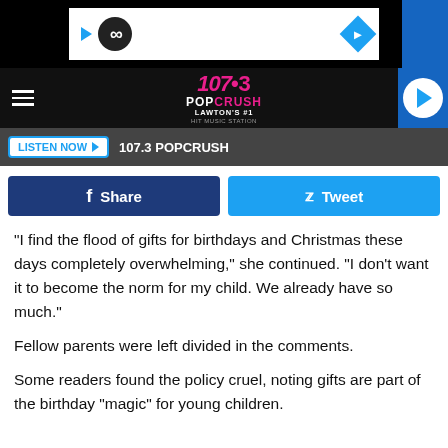[Figure (screenshot): Top ad banner with play button, infinity logo, and navigation arrow on black background]
[Figure (logo): 107.3 POPCRUSH Lawton's #1 Hit Music Station logo centered in dark navigation bar with hamburger menu and play button]
LISTEN NOW  107.3 POPCRUSH
[Figure (screenshot): Facebook Share and Twitter Tweet social sharing buttons row]
"I find the flood of gifts for birthdays and Christmas these days completely overwhelming," she continued. "I don't want it to become the norm for my child. We already have so much."
Fellow parents were left divided in the comments.
Some readers found the policy cruel, noting gifts are part of the birthday "magic" for young children.